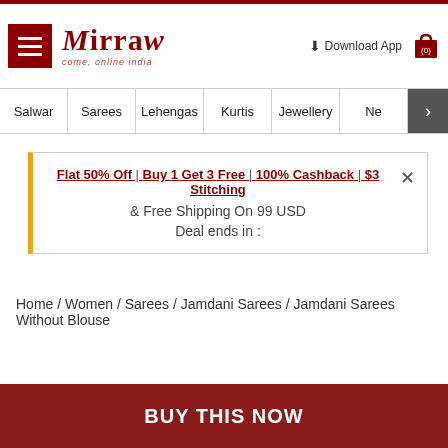Mirraw — come, online india
Salwar | Sarees | Lehengas | Kurtis | Jewellery | Ne >
Flat 50% Off | Buy 1 Get 3 Free | 100% Cashback | $3 Stitching & Free Shipping On 99 USD
Deal ends in :
Home / Women / Sarees / Jamdani Sarees / Jamdani Sarees Without Blouse
BUY THIS NOW